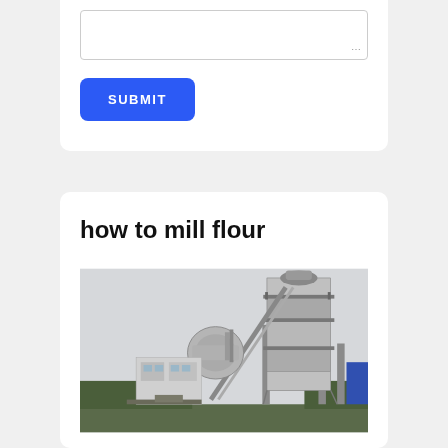[Figure (screenshot): A textarea input box with dotted resize handle at bottom right]
SUBMIT
how to mill flour
[Figure (photo): Industrial milling plant / asphalt mixing plant with large tower structure, conveyor belt, control building, and trees in background]